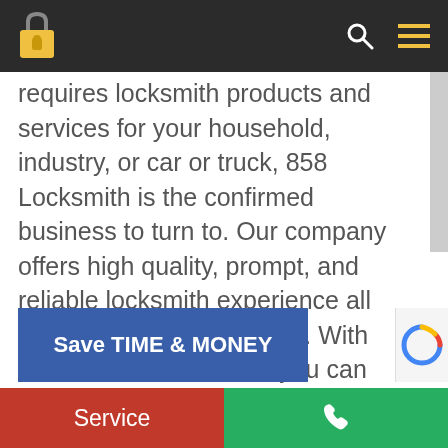[Navigation bar with lock logo, search icon, menu icon]
requires locksmith products and services for your household, industry, or car or truck, 858 Locksmith is the confirmed business to turn to. Our company offers high quality, prompt, and reliable locksmith experience all through the La Mesa area. With 858 Locksmith service, you can depend on all-inclusive and timely service for any of your locksmith needs.
Save TIME & MONEY
Service | [phone icon]